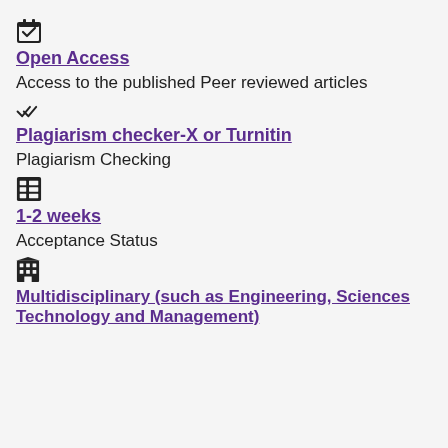[Figure (other): Calendar with checkmark icon]
Open Access
Access to the published Peer reviewed articles
[Figure (other): Double checkmark icon]
Plagiarism checker-X or Turnitin
Plagiarism Checking
[Figure (other): List/table icon]
1-2 weeks
Acceptance Status
[Figure (other): Building/organization icon]
Multidisciplinary (such as Engineering, Sciences Technology and Management)